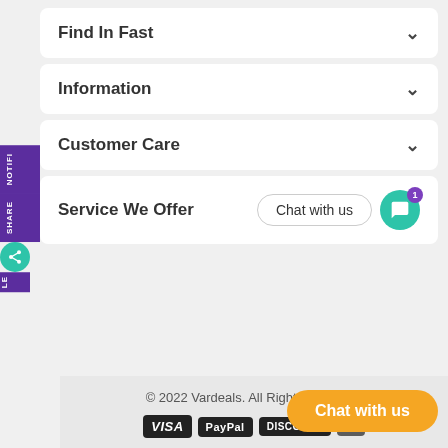Find In Fast
Information
Customer Care
Service We Offer
© 2022 Vardeals. All Rights Reserved
[Figure (screenshot): Payment method icons: VISA, PayPal, DISCOVER and partial fourth icon]
Chat with us